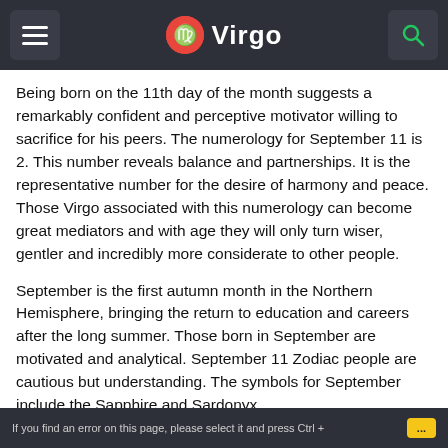Virgo
Being born on the 11th day of the month suggests a remarkably confident and perceptive motivator willing to sacrifice for his peers. The numerology for September 11 is 2. This number reveals balance and partnerships. It is the representative number for the desire of harmony and peace. Those Virgo associated with this numerology can become great mediators and with age they will only turn wiser, gentler and incredibly more considerate to other people.
September is the first autumn month in the Northern Hemisphere, bringing the return to education and careers after the long summer. Those born in September are motivated and analytical. September 11 Zodiac people are cautious but understanding. The symbols for September include the Sapphire and Sardonyx...
If you find an error on this page, please select it and press Ctrl +